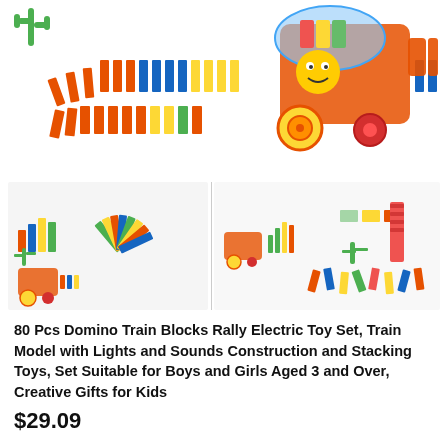[Figure (photo): Main product image: colorful domino train toy with electric train car dispensing multicolored domino blocks, with cactus decoration, on white background]
[Figure (photo): Three thumbnail images of the domino train toy showing different play configurations and setups]
80 Pcs Domino Train Blocks Rally Electric Toy Set, Train Model with Lights and Sounds Construction and Stacking Toys, Set Suitable for Boys and Girls Aged 3 and Over, Creative Gifts for Kids
$29.09